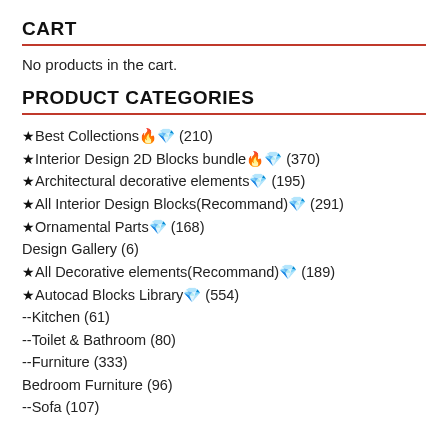CART
No products in the cart.
PRODUCT CATEGORIES
★Best Collections🔥💎 (210)
★Interior Design 2D Blocks bundle🔥💎 (370)
★Architectural decorative elements💎 (195)
★All Interior Design Blocks(Recommand)💎 (291)
★Ornamental Parts💎 (168)
Design Gallery (6)
★All Decorative elements(Recommand)💎 (189)
★Autocad Blocks Library💎 (554)
--Kitchen (61)
--Toilet & Bathroom (80)
--Furniture (333)
Bedroom Furniture (96)
--Sofa (107)